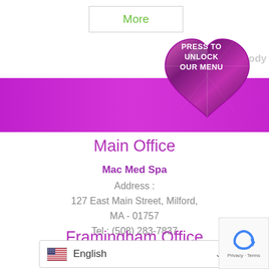[Figure (screenshot): Top navigation bar with 'More' button in green text and a purple/magenta banner below with a diamond heart graphic saying 'PRESS TO UNLOCK OUR MENU' and partial text 'ody']
Main Office
Mac Med Spa
Address :
127 East Main Street, Milford,
MA - 01757
Tel : (508) 283-7837
Framingham Office
a Website
ss :
[Figure (screenshot): English language selector dropdown with US flag, showing 'English' and a dropdown arrow]
[Figure (screenshot): reCAPTCHA widget showing 'Privacy · Terms']